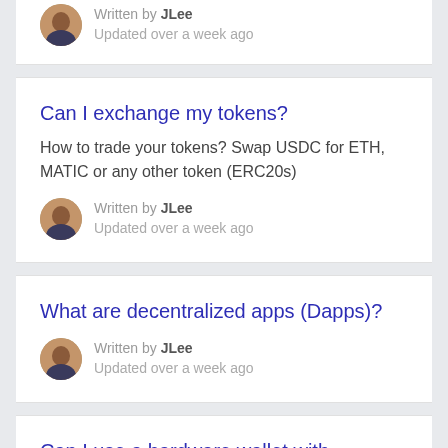Written by JLee
Updated over a week ago
Can I exchange my tokens?
How to trade your tokens? Swap USDC for ETH, MATIC or any other token (ERC20s)
Written by JLee
Updated over a week ago
What are decentralized apps (Dapps)?
Written by JLee
Updated over a week ago
Can I use a hardware wallet with Sequence?
Written by JLee